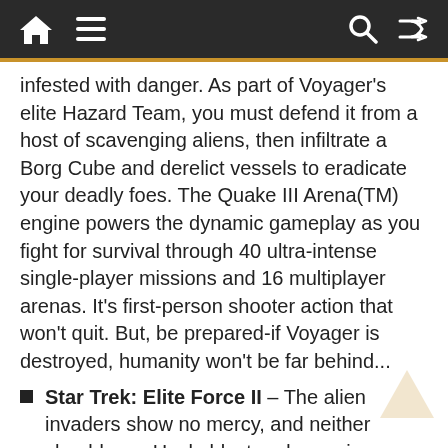Home | Menu | Search | Shuffle
infested with danger. As part of Voyager's elite Hazard Team, you must defend it from a host of scavenging aliens, then infiltrate a Borg Cube and derelict vessels to eradicate your deadly foes. The Quake III Arena(TM) engine powers the dynamic gameplay as you fight for survival through 40 ultra-intense single-player missions and 16 multiplayer arenas. It's first-person shooter action that won't quit. But, be prepared-if Voyager is destroyed, humanity won't be far behind...
Star Trek: Elite Force II – The alien invaders show no mercy, and neither should you. Hack, blast and vaporize your way into the heart of galactic evil with devastating firepower. Battle through the ravaged hulk of a massive starship, protect an alien colony under siege, face the unknown on a treacherous volcanic planetoid and assault a host of insidious alien strongholds. Where diplomacy fails, the Hazard